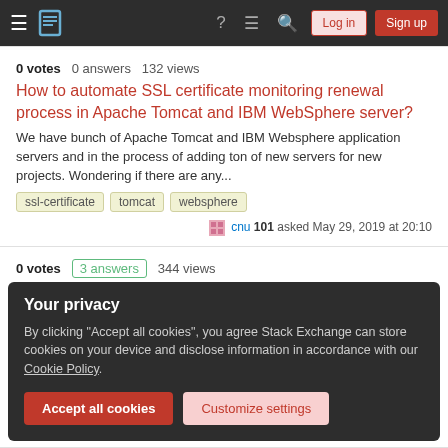Stack Exchange navigation bar with Log in and Sign up buttons
0 votes  0 answers  132 views
How to automate SSL certificate monitoring renewal process in Apache Tomcat and IBM WebSphere server?
We have bunch of Apache Tomcat and IBM Websphere application servers and in the process of adding ton of new servers for new projects. Wondering if there are any...
ssl-certificate
tomcat
websphere
cnu 101 asked May 29, 2019 at 20:10
0 votes  3 answers  344 views
Your privacy
By clicking "Accept all cookies", you agree Stack Exchange can store cookies on your device and disclose information in accordance with our Cookie Policy.
Accept all cookies  Customize settings
1 vote  1 answer  3k views